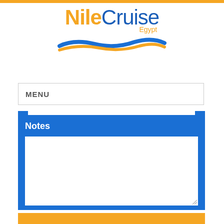[Figure (logo): Nile Cruise Egypt logo with orange 'Nile' text, blue 'Cruise' text, 'Egypt' subtitle, and wave graphic below]
MENU
Notes
[Figure (screenshot): Blue notes panel with a white textarea input field and a resize handle in the bottom right corner]
[Figure (other): Orange button partially visible at bottom of page]